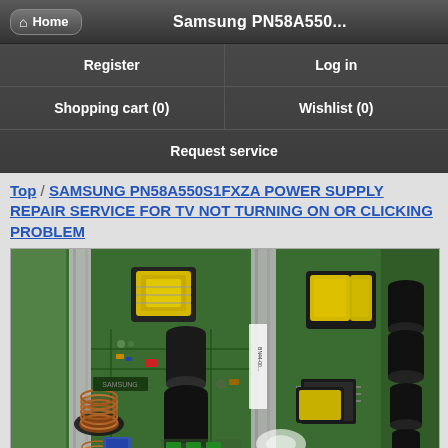Home   Samsung PN58A550...
| Register | Log in |
| Shopping cart (0) | Wishlist (0) |
| Request service |  |
Top / SAMSUNG PN58A550S1FXZA POWER SUPPLY REPAIR SERVICE FOR TV NOT TURNING ON OR CLICKING PROBLEM
[Figure (photo): Photograph of a Samsung PN58A550S1FXZA power supply circuit board (PCB) showing various electronic components including capacitors, inductors, transformers with yellow coils, and heat sink fins.]